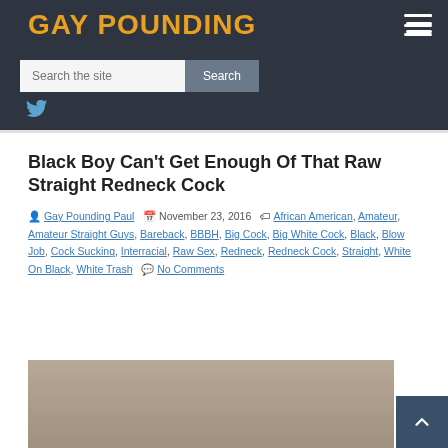GAY POUNDING
Black Boy Can't Get Enough Of That Raw Straight Redneck Cock
Gay Pounding Paul | November 23, 2016 | African American, Amateur, Amateur Straight Guys, Bareback, BBBH, Big Cock, Big White Cock, Black, Blow Job, Cock Sucking, Interracial, Raw Sex, Redneck, Redneck Cock, Straight, White On Black, White Trash | No Comments
[Figure (photo): Photo showing a man in a black t-shirt looking at a phone, appears to be sitting on a couch]